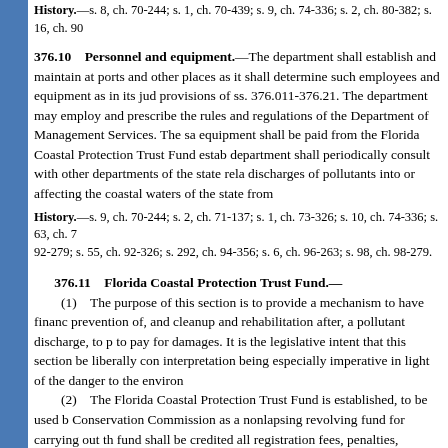History.—s. 8, ch. 70-244; s. 1, ch. 70-439; s. 9, ch. 74-336; s. 2, ch. 80-382; s. 16, ch. 90-...
376.10    Personnel and equipment.
The department shall establish and maintain at ports and other places as it shall determine such employees and equipment as in its judgment are necessary to carry out the provisions of ss. 376.011-376.21. The department may employ and prescribe the duties of such employees, subject to the rules and regulations of the Department of Management Services. The salaries of such employees and the cost of equipment shall be paid from the Florida Coastal Protection Trust Fund established by s. 376.11. The department shall periodically consult with other departments of the state relative to matters relating to discharges of pollutants into or affecting the coastal waters of the state from offshore drilling operations.
History.—s. 9, ch. 70-244; s. 2, ch. 71-137; s. 1, ch. 73-326; s. 10, ch. 74-336; s. 63, ch. 7... 92-279; s. 55, ch. 92-326; s. 292, ch. 94-356; s. 6, ch. 96-263; s. 98, ch. 98-279.
376.11    Florida Coastal Protection Trust Fund.—
(1)    The purpose of this section is to provide a mechanism to have financial resources available for prevention of, and cleanup and rehabilitation after, a pollutant discharge, to pay for damages. It is the legislative intent that this section be liberally construed, such liberal interpretation being especially imperative in light of the danger to the environment.
(2)    The Florida Coastal Protection Trust Fund is established, to be used by the Land and Water Conservation Commission as a nonlapsing revolving fund for carrying out the provisions of this part. Into this fund shall be credited all registration fees, penalties, judgments, damages recovered, and charges related to ss. 376.011-376.21, and the excise tax revenues levied pursuant to ss. 206.9935(1) and 206.9945(1)(a). Charges against the fund shall be in accordance with...
(3)    Moneys in the fund that are not needed currently to meet the obligations...